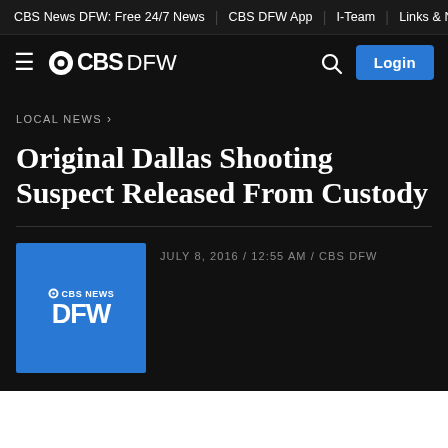CBS News DFW: Free 24/7 News | CBS DFW App | I-Team | Links & Nu
[Figure (logo): CBS DFW logo with hamburger menu icon, eye logo, CBS bold text, and DFW text in white on dark background, with search icon and Login button on the right]
LOCAL NEWS >
Original Dallas Shooting Suspect Released From Custody
JULY 8, 2016 / 12:55 AM / CBS DFW